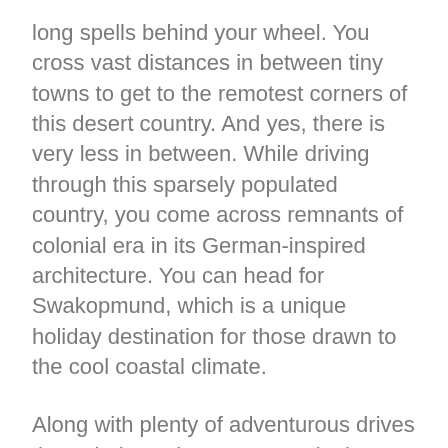long spells behind your wheel. You cross vast distances in between tiny towns to get to the remotest corners of this desert country. And yes, there is very less in between. While driving through this sparsely populated country, you come across remnants of colonial era in its German-inspired architecture. You can head for Swakopmund, which is a unique holiday destination for those drawn to the cool coastal climate.
Along with plenty of adventurous drives through the Sahara, you can look forward to savoring some “advanced sports” – ranging from sky diving to sand boarding in some of the least expected regions of Namibia. If you are looking for a relaxing day in scenic precincts, then head towards the Skeleton Coast National Park or Damaraland– a lovely arid region with flat-topped mountains. You can also head north to visit leopards and rhinos along with several other species